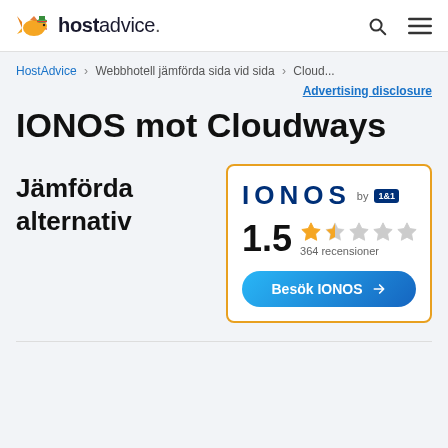hostadvice.
HostAdvice > Webbhotell jämförda sida vid sida > Cloud...
Advertising disclosure
IONOS mot Cloudways
Jämförda alternativ
[Figure (screenshot): IONOS by 1&1 hosting provider card with 1.5 star rating (364 reviews) and a 'Besök IONOS' visit button]